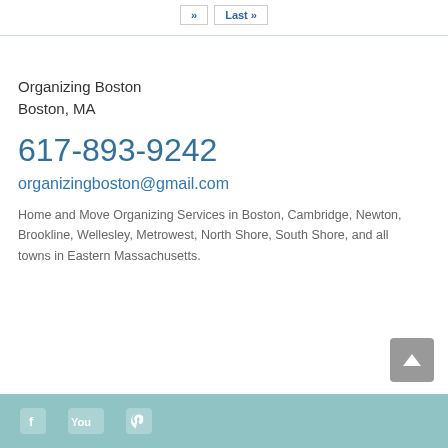[Figure (other): Pagination buttons: arrow and 'Last »' button]
Organizing Boston
Boston, MA
617-893-9242
organizingboston@gmail.com
Home and Move Organizing Services in Boston, Cambridge, Newton, Brookline, Wellesley, Metrowest, North Shore, South Shore, and all towns in Eastern Massachusetts.
Social media icons footer bar (Facebook, YouTube, Pinterest)